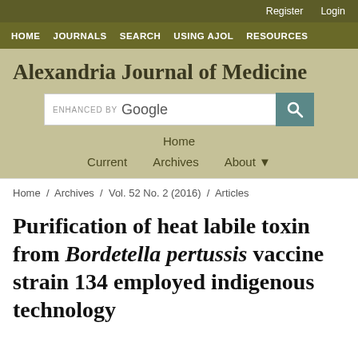Register  Login
HOME  JOURNALS  SEARCH  USING AJOL  RESOURCES
Alexandria Journal of Medicine
[Figure (other): Google custom search bar with search button]
Home
Current  Archives  About
Home / Archives / Vol. 52 No. 2 (2016) / Articles
Purification of heat labile toxin from Bordetella pertussis vaccine strain 134 employed indigenous technology